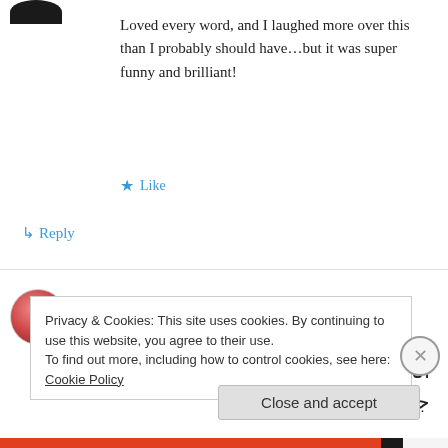[Figure (photo): Dark avatar icon, top portion visible]
Loved every word, and I laughed more over this than I probably should have…but it was super funny and brilliant!
★ Like
↳ Reply
[Figure (photo): Pink/red avatar icon for user alm383]
alm383 on January 2, 2014 at 8:32 pm
انا اكرمكم عندالله اتقاكم كفا العنصريين جهل
Privacy & Cookies: This site uses cookies. By continuing to use this website, you agree to their use.
To find out more, including how to control cookies, see here: Cookie Policy
Close and accept